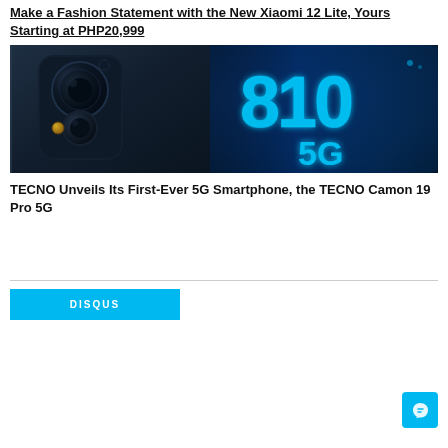Make a Fashion Statement with the New Xiaomi 12 Lite, Yours Starting at PHP20,999
[Figure (photo): Dark blue smartphone showing rear camera module on left, with glowing blue neon '810 5G' text on right against dark background]
TECNO Unveils Its First-Ever 5G Smartphone, the TECNO Camon 19 Pro 5G
DISQUS